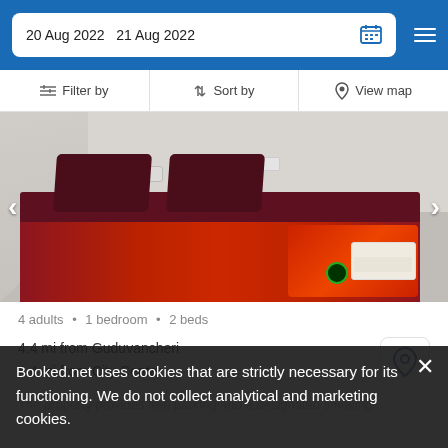20 Aug 2022   21 Aug 2022
Filter by   Sort by   View map
[Figure (photo): Hotel room with a double bed with dark red/maroon bedding and a colorful patterned blanket, white walls, AC unit and power socket visible]
4 adults · 1 bedroom · 2 beds
4.4 mi from Guduvancheri
4.4 mi from City Center
The property provides free parking and a designated smoking...
Booked.net uses cookies that are strictly necessary for its functioning. We do not collect analytical and marketing cookies.
from US$ 17/night